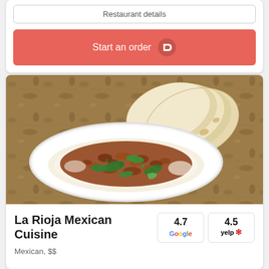Restaurant details
Start an order
[Figure (photo): Food photo showing a white oval dish with ground meat (chorizo) and green peppers/jalapeños on top of what appears to be queso/cheese dip, accompanied by stacked flour tortillas on a granite countertop]
La Rioja Mexican Cuisine
4.7 Google
4.5 yelp
Mexican, $$